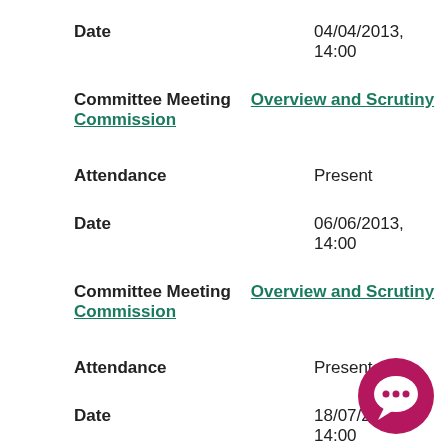Date    04/04/2013, 14:00
Committee Meeting    Overview and Scrutiny Commission
Attendance    Present
Date    06/06/2013, 14:00
Committee Meeting    Overview and Scrutiny Commission
Attendance    Present
Date    18/07/2013, 14:00
Committee Meeting    Overview and Scrutiny Commission